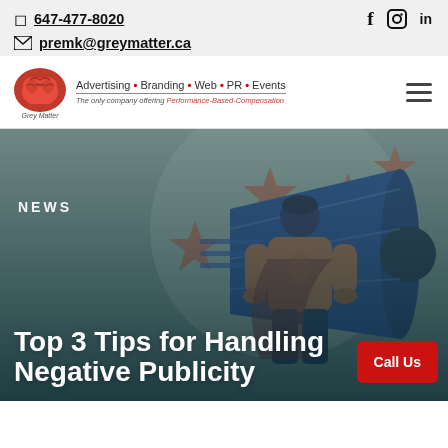647-477-8020  premk@greymatter.ca
[Figure (logo): Grey Matter company logo with red brain icon, tagline: Advertising • Branding • Web • PR • Events, sub: The only company offering Performance-Based-Compensation]
[Figure (illustration): Hero illustration: person in orange shirt holding megaphone with 5 red stars on grey circular background, gradient dark teal overlay. Text overlay: NEWS and Top 3 Tips for Handling Negative Publicity with a red Call Us button.]
Top 3 Tips for Handling Negative Publicity